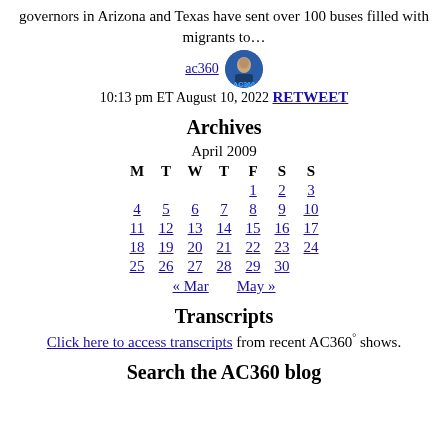governors in Arizona and Texas have sent over 100 buses filled with migrants to…
ac360  10:13 pm ET August 10, 2022  RETWEET
Archives
| M | T | W | T | F | S | S |
| --- | --- | --- | --- | --- | --- | --- |
|  |  |  |  | 1 | 2 | 3 | 4 | 5 |
| 6 | 7 | 8 | 9 | 10 | 11 | 12 |
| 13 | 14 | 15 | 16 | 17 | 18 | 19 |
| 20 | 21 | 22 | 23 | 24 | 25 | 26 |
| 27 | 28 | 29 | 30 |  |  |  |
« Mar   May »
Transcripts
Click here to access transcripts from recent AC360° shows.
Search the AC360 blog